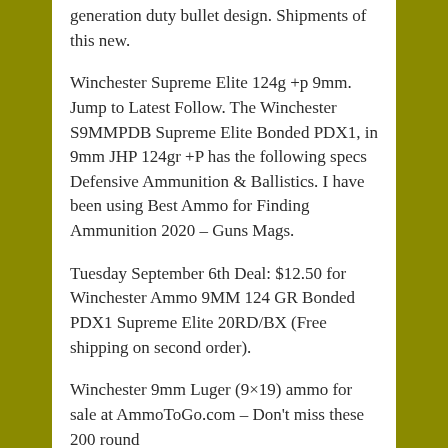generation duty bullet design. Shipments of this new.
Winchester Supreme Elite 124g +p 9mm. Jump to Latest Follow. The Winchester S9MMPDB Supreme Elite Bonded PDX1, in 9mm JHP 124gr +P has the following specs Defensive Ammunition & Ballistics. I have been using Best Ammo for Finding Ammunition 2020 – Guns Mags.
Tuesday September 6th Deal: $12.50 for Winchester Ammo 9MM 124 GR Bonded PDX1 Supreme Elite 20RD/BX (Free shipping on second order).
Winchester 9mm Luger (9×19) ammo for sale at AmmoToGo.com – Don't miss these 200 round